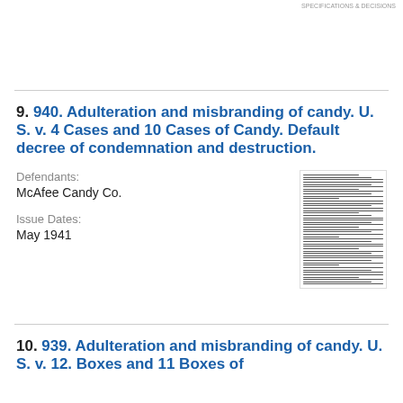9. 940. Adulteration and misbranding of candy. U. S. v. 4 Cases and 10 Cases of Candy. Default decree of condemnation and destruction.
Defendants: McAfee Candy Co.
Issue Dates: May 1941
[Figure (other): Thumbnail image of a document page with dense text]
10. 939. Adulteration and misbranding of candy. U. S. v. 12. Boxes and 11 Boxes of